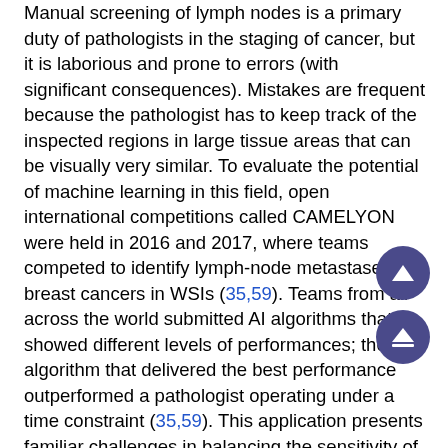Manual screening of lymph nodes is a primary duty of pathologists in the staging of cancer, but it is laborious and prone to errors (with significant consequences). Mistakes are frequent because the pathologist has to keep track of the inspected regions in large tissue areas that can be visually very similar. To evaluate the potential of machine learning in this field, open international competitions called CAMELYON were held in 2016 and 2017, where teams competed to identify lymph-node metastases of breast cancers in WSIs (35,59). Teams from all across the world submitted AI algorithms that showed different levels of performances; the algorithm that delivered the best performance outperformed a pathologist operating under a time constraint (35,59). This application presents familiar challenges in balancing the sensitivity of micrometastasis identification with a false positive rate, specifically for the detection of isolated tumor cells. Our team has also conducted a study to identify a lymph node metastasis of lung cancer using a deep learning platform where false positive segmentation was successfully excluded